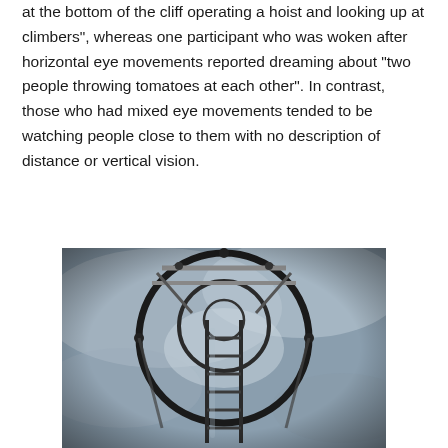at the bottom of the cliff operating a hoist and looking up at climbers", whereas one participant who was woken after horizontal eye movements reported dreaming about “two people throwing tomatoes at each other". In contrast, those who had mixed eye movements tended to be watching people close to them with no description of distance or vertical vision.
[Figure (photo): A photograph taken from below looking up through a circular metal cage/ladder structure with rungs leading upward toward a cloudy sky, creating a tunnel-like perspective.]